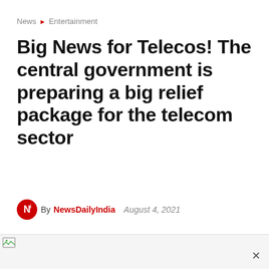News ▶ Entertainment
Big News for Telecos! The central government is preparing a big relief package for the telecom sector
By NewsDailyIndia   August 4, 2021   👁 46
[Figure (photo): Image placeholder for article photo with broken image icon]